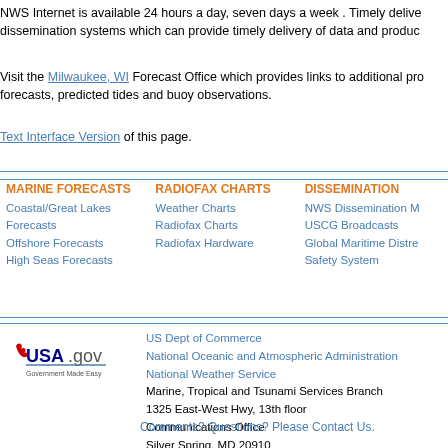NWS Internet is available 24 hours a day, seven days a week . Timely delivery of products through the many dissemination systems which can provide timely delivery of data and products.
Visit the Milwaukee, WI Forecast Office which provides links to additional products including marine forecasts, predicted tides and buoy observations.
Text Interface Version of this page.
MARINE FORECASTS
Coastal/Great Lakes Forecasts
Offshore Forecasts
High Seas Forecasts
RADIOFAX CHARTS
Weather Charts
Radiofax Charts
Radiofax Hardware
DISSEMINATION
NWS Dissemination M
USCG Broadcasts
Global Maritime Distre Safety System
[Figure (logo): USA.gov Government Made Easy logo]
US Dept of Commerce
National Oceanic and Atmospheric Administration
National Weather Service
Marine, Tropical and Tsunami Services Branch
1325 East-West Hwy, 13th floor
Communications Office
Silver Spring, MD 20910
Comments? Questions? Please Contact Us.